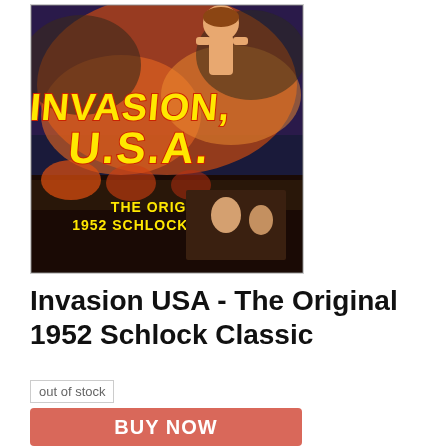[Figure (illustration): Movie poster for 'Invasion, U.S.A.' showing dramatic artwork with large yellow and red text reading 'INVASION, U.S.A.' and subtitle 'THE ORIGINAL 1952 SCHLOCK CLASSIC']
Invasion USA - The Original 1952 Schlock Classic
out of stock
BUY NOW